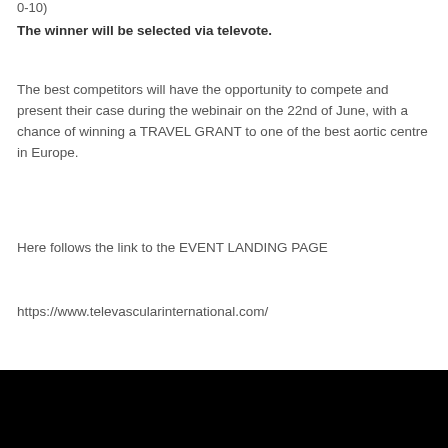0-10)
The winner will be selected via televote.
The best competitors will have the opportunity to compete and present their case during the webinair on the 22nd of June, with a chance of winning a TRAVEL GRANT to one of the best aortic centre in Europe.
Here follows the link to the EVENT LANDING PAGE
https://www.televascularinternational.com/
Chi siamo